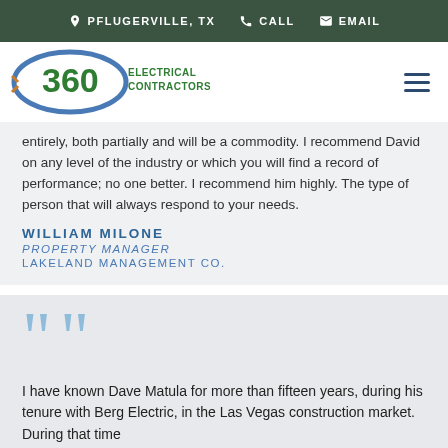PFLUGERVILLE, TX   CALL   EMAIL
[Figure (logo): 360 Electrical Contractors logo with blue oval, green 360 text, and wiring graphic]
...entirely, both partially and will be a commodity. I recommend David on any level of the industry or which you will find a record of performance; no one better. I recommend him highly. The type of person that will always respond to your needs.
WILLIAM MILONE
PROPERTY MANAGER
LAKELAND MANAGEMENT CO.
I have known Dave Matula for more than fifteen years, during his tenure with Berg Electric, in the Las Vegas construction market. During that time...